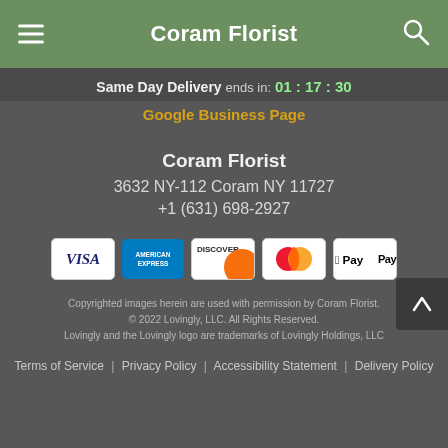Coram Florist
Same Day Delivery ends in: 01 : 17 : 30
Google Business Page
Coram Florist
3632 NY-112 Coram NY 11727
+1 (631) 698-2927
[Figure (other): Payment method icons: Visa, American Express, Discover, Mastercard, Apple Pay]
Copyrighted images herein are used with permission by Coram Florist. © 2022 Lovingly, LLC. All Rights Reserved. Lovingly and the Lovingly logo are trademarks of Lovingly Holdings, LLC
Terms of Service | Privacy Policy | Accessibility Statement | Delivery Policy